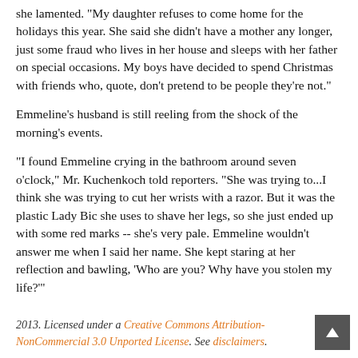she lamented. "My daughter refuses to come home for the holidays this year. She said she didn't have a mother any longer, just some fraud who lives in her house and sleeps with her father on special occasions. My boys have decided to spend Christmas with friends who, quote, don't pretend to be people they're not."
Emmeline's husband is still reeling from the shock of the morning's events.
"I found Emmeline crying in the bathroom around seven o'clock," Mr. Kuchenkoch told reporters. "She was trying to...I think she was trying to cut her wrists with a razor. But it was the plastic Lady Bic she uses to shave her legs, so she just ended up with some red marks -- she's very pale. Emmeline wouldn't answer me when I said her name. She kept staring at her reflection and bawling, 'Who are you? Why have you stolen my life?'"
2013. Licensed under a Creative Commons Attribution-NonCommercial 3.0 Unported License. See disclaimers.